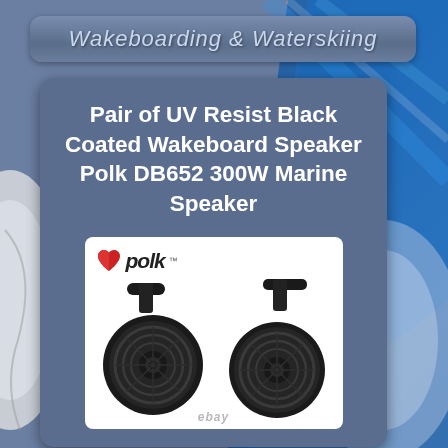Wakeboarding & Waterskiing
Pair of UV Resist Black Coated Wakeboard Speaker Polk DB652 300W Marine Speaker
[Figure (photo): Product photo of Polk Audio DB652 marine wakeboard speakers — a pair of round black speakers with mounting brackets, shown against a white background with the Polk Audio logo at the top left.]